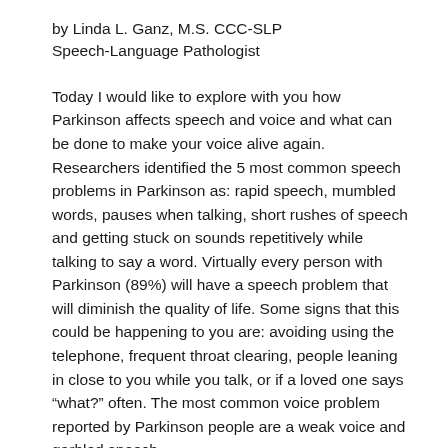by Linda L. Ganz, M.S. CCC-SLP
Speech-Language Pathologist
Today I would like to explore with you how Parkinson affects speech and voice and what can be done to make your voice alive again. Researchers identified the 5 most common speech problems in Parkinson as: rapid speech, mumbled words, pauses when talking, short rushes of speech and getting stuck on sounds repetitively while talking to say a word. Virtually every person with Parkinson (89%) will have a speech problem that will diminish the quality of life. Some signs that this could be happening to you are: avoiding using the telephone, frequent throat clearing, people leaning in close to you while you talk, or if a loved one says “what?” often. The most common voice problem reported by Parkinson people are a weak voice and garbled speech.